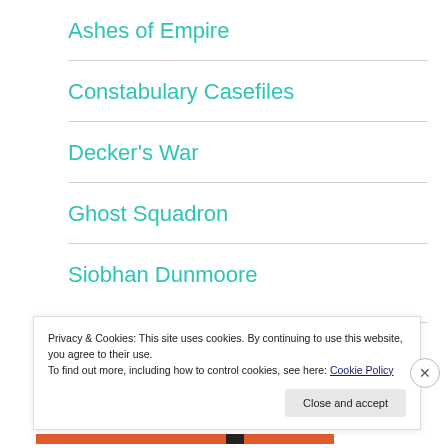Ashes of Empire
Constabulary Casefiles
Decker's War
Ghost Squadron
Siobhan Dunmoore
Privacy & Cookies: This site uses cookies. By continuing to use this website, you agree to their use.
To find out more, including how to control cookies, see here: Cookie Policy
Close and accept